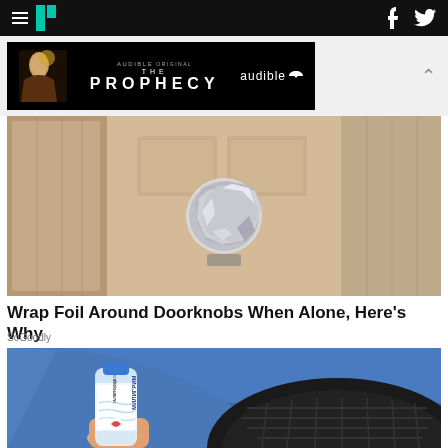HuffPost navigation bar with logo, hamburger menu, Facebook and Twitter icons
[Figure (photo): Audible Original - The Prophecy advertisement banner with dark background and audible logo]
[Figure (photo): A door knob wrapped in crumpled aluminum foil against a beige/tan door]
Wrap Foil Around Doorknobs When Alone, Here's Why
SoGoodly
[Figure (photo): A hand holding a water bottle (Miligram brand with Russian text) placed near a car tire]